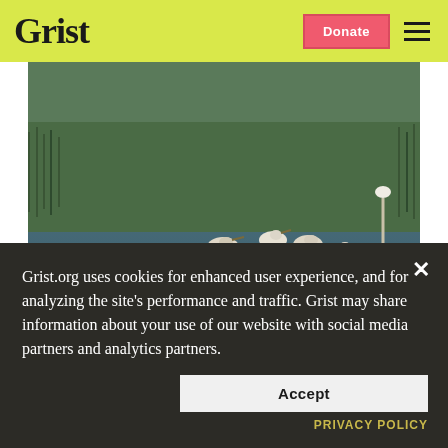Grist | Donate | Menu
[Figure (photo): Wading ibises and egrets standing in a shallow estuarine wetland with water reflections, surrounded by green marsh grasses in the background.]
Wading ibises in the estuary
Grist.org uses cookies for enhanced user experience, and for analyzing the site's performance and traffic. Grist may share information about your use of our website with social media partners and analytics partners.